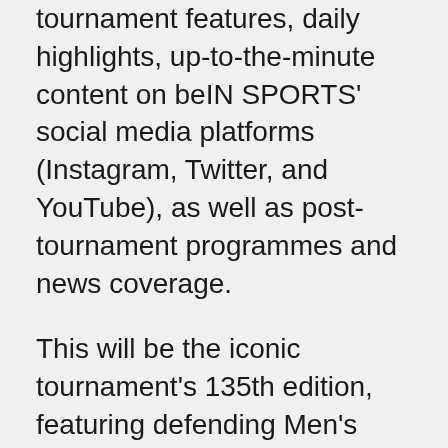tournament features, daily highlights, up-to-the-minute content on beIN SPORTS' social media platforms (Instagram, Twitter, and YouTube), as well as post-tournament programmes and news coverage.
This will be the iconic tournament's 135th edition, featuring defending Men's Singles champion Novak Djokovic who will battle for his title amidst the cream of the crop of the tennis world. Current Women's World No. 1 Iga Swiatek, 2021 Women's Singles runner-up Karolina Pliskova; last year's finalist Matteo Berrettini; and Spanish athlete Carlos Alcaraz are tipped to join the illustrious company of Rafael Nadal, who will attempt to become the first man in history to win 23 Grand Slam titles.